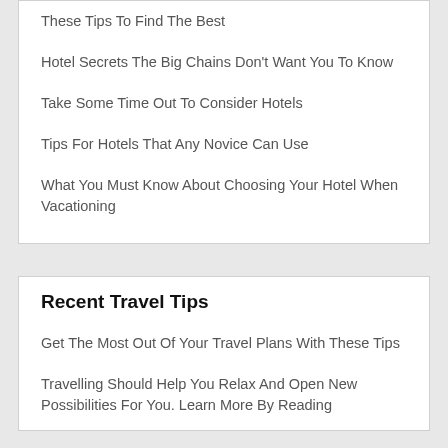These Tips To Find The Best
Hotel Secrets The Big Chains Don't Want You To Know
Take Some Time Out To Consider Hotels
Tips For Hotels That Any Novice Can Use
What You Must Know About Choosing Your Hotel When Vacationing
Recent Travel Tips
Get The Most Out Of Your Travel Plans With These Tips
Travelling Should Help You Relax And Open New Possibilities For You. Learn More By Reading